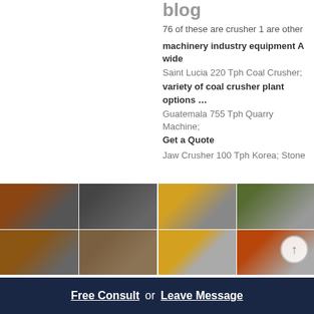blog
76 of these are crusher 1 are other
machinery industry equipment A wide
Saint Lucia 220 Tph Coal Crusher; variety of coal crusher plant options …
Guatemala 755 Tph Quarry Machine; Get a Quote
Jaw Crusher 100 Tph Korea; Stone
[Figure (photo): Four-panel photo collage of Canica 2000SD VSI crusher equipment, showing industrial machinery from multiple angles]
[Figure (photo): Four-panel photo collage of Stone Crusher Plant showing crusher equipment and machinery with Live Chat overlay button]
Canica 2000SD VSI
Stone Crusher Plant | Crusher Plant Capacity
2021-8-31 · Specification. Value. Max Feed Size. 4" / 100 mm. Capacity. 250 tph / 225 mtph. Motor Size. 200-400 hp / 150-300 kW. Canica Overview.
Stone Crushing Plant Capacity. CRUSHER PLANT crushes such as limestone, granite, basalt and so on to
Free Consult  or  Leave Message